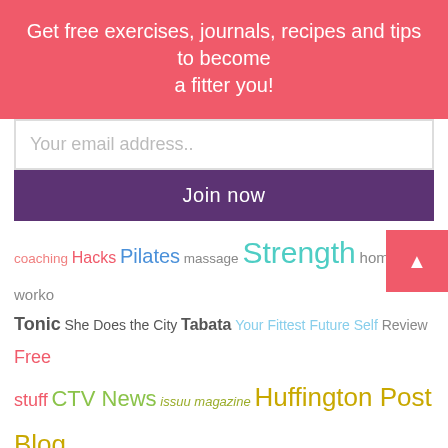Get free exercises, journals, recipes and tips to become a fitter you!
Your email address..
Join now
coaching Hacks Pilates massage Strength home worko... Tonic She Does the City Tabata Your Fittest Future Self Review Free stuff CTV News issuu magazine Huffington Post Blog TalkToMe rows Mistakes systems Band workout Setting Goals Sex Intervals Dog play Your Fittest Future Self Weekly Videos Stretching hip flexor gift ideas Zoomer Radio BlogTO Burnout Featured Review Avoid Weight Gain Get Centered Gym memberships Golf Home Gym FIT CHICKS Chat banded rows Stability Ball CHCH sleep Health Advisor Review The Art of